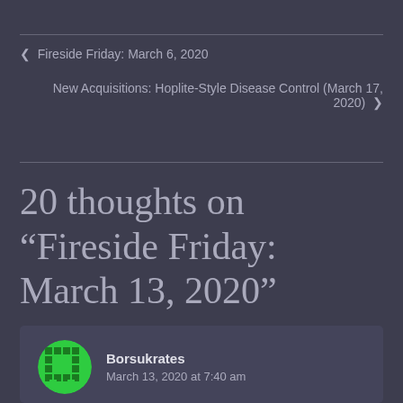‹  Fireside Friday: March 6, 2020
New Acquisitions: Hoplite-Style Disease Control (March 17, 2020)  ›
20 thoughts on “Fireside Friday: March 13, 2020”
Borsukrates
March 13, 2020 at 7:40 am
Speaking of throwing weapons: